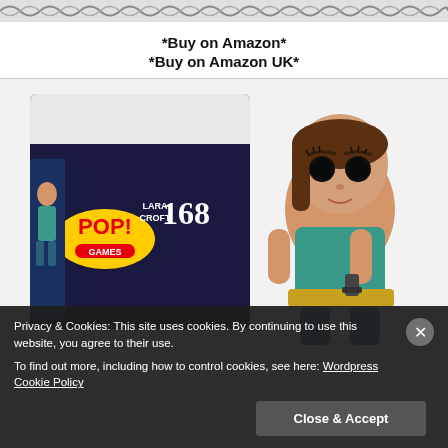[Figure (illustration): Decorative repeating pattern banner at top of page]
*Buy on Amazon*
*Buy on Amazon UK*
[Figure (photo): Funko Pop! Games Lara Croft #168 vinyl figure shown in box and as standalone figure. The figure depicts Lara Croft in teal outfit holding a gun, with large black eyes and brown hair. Box shows 'POP! Games' logo and 'LARA CROFT 168' branding.]
Privacy & Cookies: This site uses cookies. By continuing to use this website, you agree to their use.
To find out more, including how to control cookies, see here: Wordpress Cookie Policy